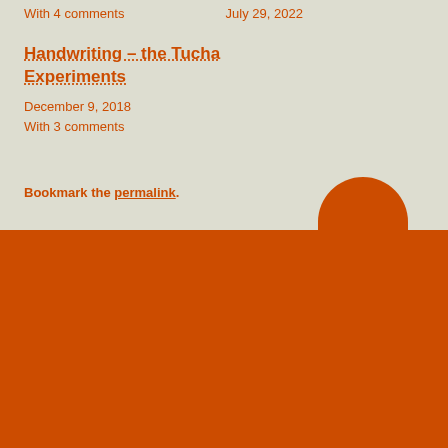With 4 comments
July 29, 2022
Handwriting – the Tucha Experiments
December 9, 2018
With 3 comments
Bookmark the permalink.
← The CPD Disconnect
I am not here to entertain you (a response to 'this is boring...'). →
Search ...